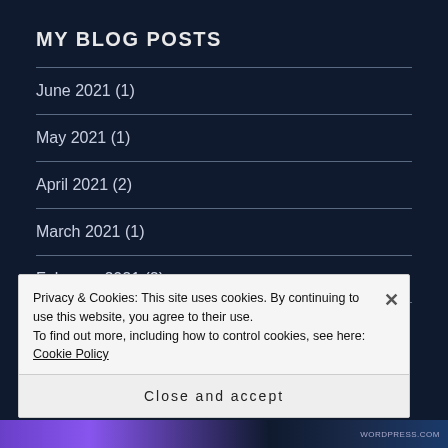MY BLOG POSTS
June 2021 (1)
May 2021 (1)
April 2021 (2)
March 2021 (1)
February 2021 (2)
January 2021 (3)
Privacy & Cookies: This site uses cookies. By continuing to use this website, you agree to their use.
To find out more, including how to control cookies, see here: Cookie Policy
Close and accept